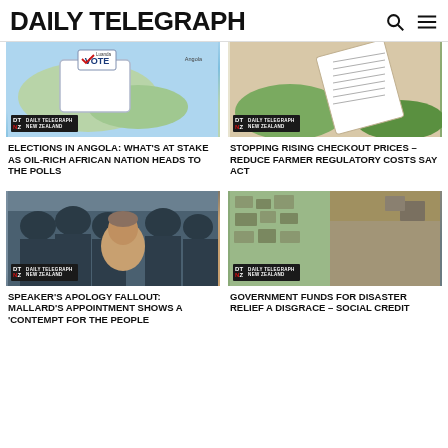DAILY TELEGRAPH
[Figure (photo): Vote ballot box illustration with map of Angola in background, DT NZ logo badge]
ELECTIONS IN ANGOLA: WHAT'S AT STAKE AS OIL-RICH AFRICAN NATION HEADS TO THE POLLS
[Figure (photo): Hand holding a printed receipt/grocery checkout paper, green farmland in background, DT NZ logo badge]
STOPPING RISING CHECKOUT PRICES – REDUCE FARMER REGULATORY COSTS SAY ACT
[Figure (photo): Winston Peters with riot police officers in background, DT NZ logo badge]
SPEAKER'S APOLOGY FALLOUT: MALLARD'S APPOINTMENT SHOWS A 'CONTEMPT FOR THE PEOPLE
[Figure (photo): Aerial view of flood-affected town with muddy floodwaters and damaged land, DT NZ logo badge]
GOVERNMENT FUNDS FOR DISASTER RELIEF A DISGRACE – SOCIAL CREDIT